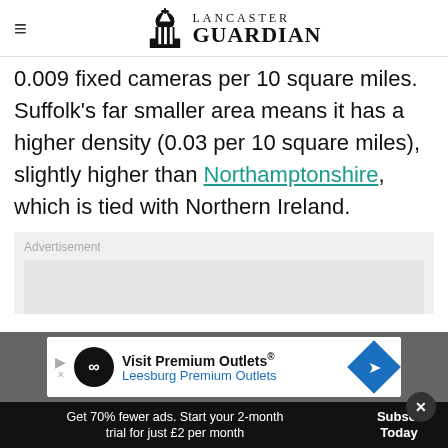Lancaster Guardian
0.009 fixed cameras per 10 square miles. Suffolk's far smaller area means it has a higher density (0.03 per 10 square miles), slightly higher than Northamptonshire, which is tied with Northern Ireland.
[Figure (other): Advertisement placeholder box with label 'Advertisement' and grey background]
[Figure (other): Ad banner: Visit Premium Outlets® Leesburg Premium Outlets with logo and arrow icon, on grey background bar]
Get 70% fewer ads. Start your 2-month trial for just £2 per month
Subscribe Today